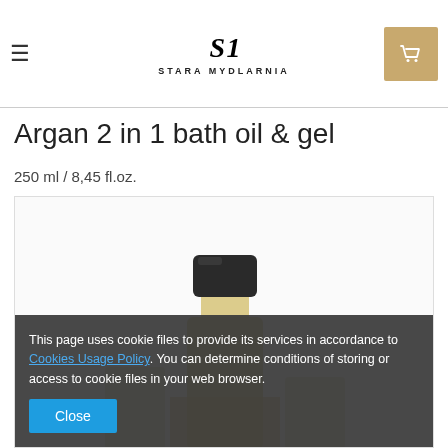STARA MYDLARNIA
Argan 2 in 1 bath oil & gel
250 ml / 8,45 fl.oz.
[Figure (photo): Product photo showing the top of an Argan 2 in 1 bath oil & gel bottle with a dark cylindrical cap and olive-colored bottle body.]
This page uses cookie files to provide its services in accordance to Cookies Usage Policy. You can determine conditions of storing or access to cookie files in your web browser.